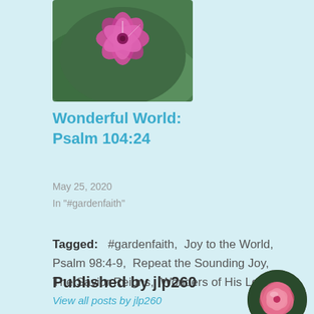[Figure (photo): Pink/magenta flower with green foliage in background, cropped photo at top of card]
Wonderful World: Psalm 104:24
May 25, 2020
In "#gardenfaith"
Tagged:   #gardenfaith,  Joy to the World,  Psalm 98:4-9,  Repeat the Sounding Joy,  The Savior Reigns,  Wonders of His Love
Published by jlp260
View all posts by jlp260
[Figure (photo): Circular avatar photo of a pink rose/flower]